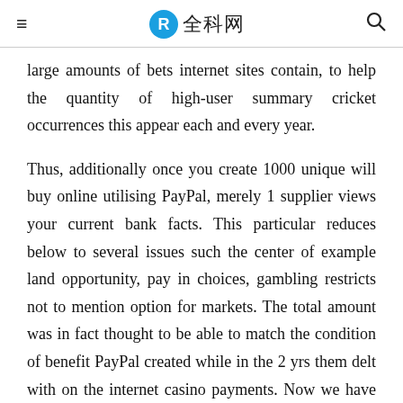≡  全科网  🔍
large amounts of bets internet sites contain, to help the quantity of high-user summary cricket occurrences this appear each and every year.
Thus, additionally once you create 1000 unique will buy online utilising PayPal, merely 1 supplier views your current bank facts. This particular reduces below to several issues such the center of example land opportunity, pay in choices, gambling restricts not to mention option for markets. The total amount was in fact thought to be able to match the condition of benefit PayPal created while in the 2 yrs them delt with on the internet casino payments. Now we have the very best good little league gambling on ideas, which in turn offer you an advantage any time keeping your own wagers. Absolutely, PayPal is recognized